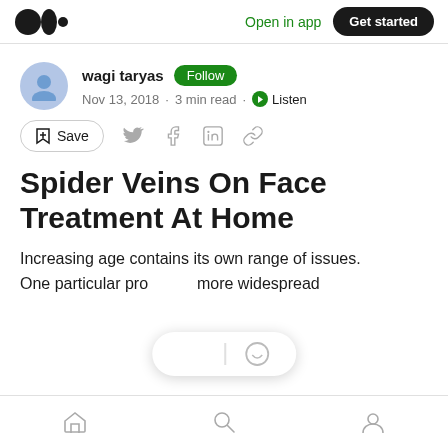Medium — Open in app | Get started
wagi taryas · Follow · Nov 13, 2018 · 3 min read · Listen
Save (social action bar)
Spider Veins On Face Treatment At Home
Increasing age contains its own range of issues. One particular pro more widespread
Home | Search | Profile